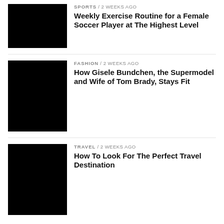[Figure (photo): Black thumbnail image for sports article]
SPORTS / 2 weeks ago
Weekly Exercise Routine for a Female Soccer Player at The Highest Level
[Figure (photo): Black thumbnail image for fashion article]
FASHION / 2 weeks ago
How Gisele Bundchen, the Supermodel and Wife of Tom Brady, Stays Fit
[Figure (photo): Black thumbnail image for travel article]
TRAVEL / 2 weeks ago
How To Look For The Perfect Travel Destination
TECHNOLOGY  BUSINESS  SPORTS  MOVIES  FASHION  GAMES  TRAVEL  AUTOMOBILE  GENERAL  PRICELIST  REVIEWS